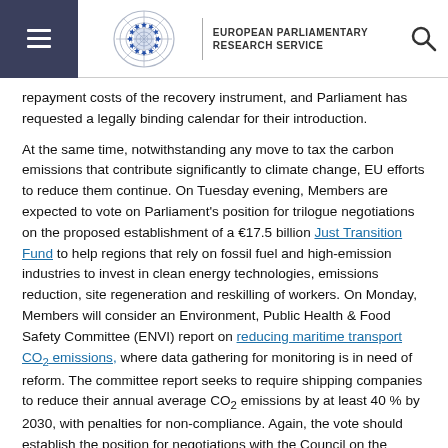European Parliamentary Research Service
repayment costs of the recovery instrument, and Parliament has requested a legally binding calendar for their introduction.
At the same time, notwithstanding any move to tax the carbon emissions that contribute significantly to climate change, EU efforts to reduce them continue. On Tuesday evening, Members are expected to vote on Parliament's position for trilogue negotiations on the proposed establishment of a €17.5 billion Just Transition Fund to help regions that rely on fossil fuel and high-emission industries to invest in clean energy technologies, emissions reduction, site regeneration and reskilling of workers. On Monday, Members will consider an Environment, Public Health & Food Safety Committee (ENVI) report on reducing maritime transport CO₂ emissions, where data gathering for monitoring is in need of reform. The committee report seeks to require shipping companies to reduce their annual average CO₂ emissions by at least 40 % by 2030, with penalties for non-compliance. Again, the vote should establish the position for negotiations with the Council on the legislative proposal. Parliament will also vote on Monday on an ENVI own-initiative report on the